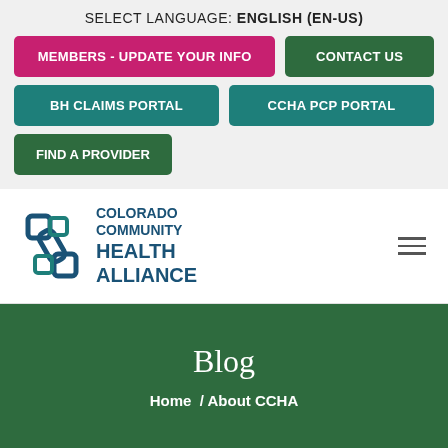SELECT LANGUAGE: ENGLISH (EN-US)
MEMBERS - UPDATE YOUR INFO
CONTACT US
BH CLAIMS PORTAL
CCHA PCP PORTAL
FIND A PROVIDER
[Figure (logo): Colorado Community Health Alliance logo with interlocking chain-link squares in dark blue and teal, with text COLORADO COMMUNITY HEALTH ALLIANCE]
Blog
Home  / About CCHA